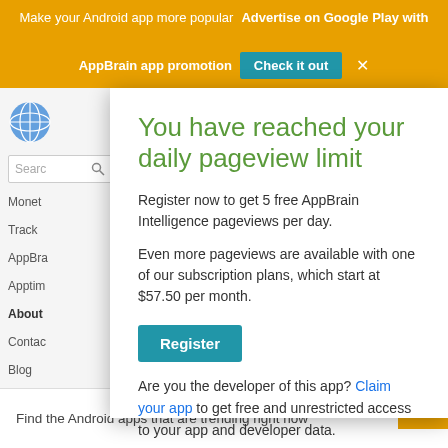Make your Android app more popular  Advertise on Google Play with AppBrain app promotion  Check it out  ×
[Figure (screenshot): Background of AppBrain website with sidebar navigation showing Monet, Track, AppBra, Apptim links, About section, Contact, Blog, Privacy, Docum, Monet, eCPM items, a globe icon, search bar, and Log in button]
You have reached your daily pageview limit
Register now to get 5 free AppBrain Intelligence pageviews per day.
Even more pageviews are available with one of our subscription plans, which start at $57.50 per month.
Register
Are you the developer of this app? Claim your app to get free and unrestricted access to your app and developer data.
Find the Android apps that are trending right now